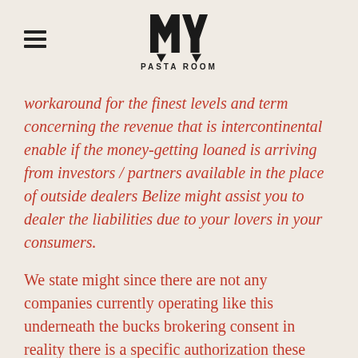MY PASTA ROOM
workaround for the finest levels and term concerning the revenue that is intercontinental enable if the money-getting loaned is arriving from investors / partners available in the place of outside dealers Belize might assist you to dealer the liabilities due to your lovers in your consumers.
We state might since there are not any companies currently operating like this underneath the bucks brokering consent in reality there is a specific authorization these days profitable in Belize I propose this kind of application is from the manner in which much more organization which is standard as solar powered energy screen lending options https://onedayloan.net/payday-loans-ga/ versus a